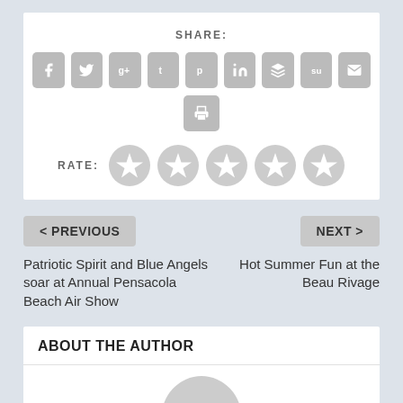SHARE:
[Figure (infographic): Social share buttons: Facebook, Twitter, Google+, Tumblr, Pinterest, LinkedIn, Layers, StumbleUpon, Email, Print]
RATE:
[Figure (infographic): Five star rating circles]
< PREVIOUS
NEXT >
Patriotic Spirit and Blue Angels soar at Annual Pensacola Beach Air Show
Hot Summer Fun at the Beau Rivage
ABOUT THE AUTHOR
[Figure (photo): Author avatar placeholder (grey semicircle)]